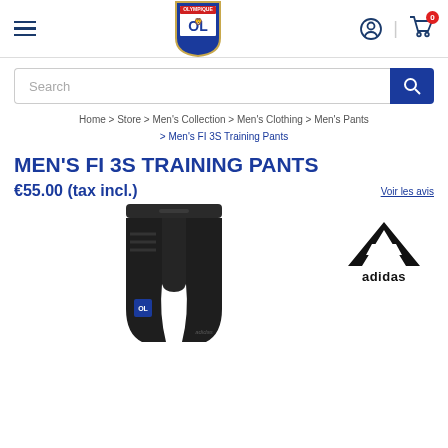Olympique Lyonnais store header with hamburger menu, OL logo, user icon, and cart (0)
Search
Home > Store > Men's Collection > Men's Clothing > Men's Pants > Men's FI 3S Training Pants
MEN'S FI 3S TRAINING PANTS
€55.00 (tax incl.)
Voir les avis
[Figure (photo): Black Adidas training pants (Men's FI 3S) with OL badge, partially shown from waist down]
[Figure (logo): Adidas logo with three stripes and 'adidas' wordmark]